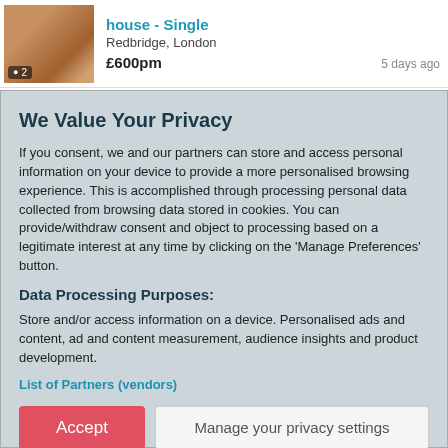[Figure (photo): Thumbnail photo of a house interior/room with a camera icon badge showing '2' photos]
house - Single
Redbridge, London
£600pm
5 days ago
We Value Your Privacy
If you consent, we and our partners can store and access personal information on your device to provide a more personalised browsing experience. This is accomplished through processing personal data collected from browsing data stored in cookies. You can provide/withdraw consent and object to processing based on a legitimate interest at any time by clicking on the 'Manage Preferences' button.
Data Processing Purposes:
Store and/or access information on a device. Personalised ads and content, ad and content measurement, audience insights and product development.
List of Partners (vendors)
Accept
Manage your privacy settings